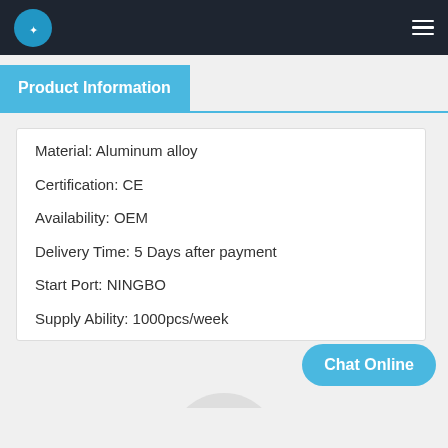AIRWOLF logo and navigation menu
Product Information
Material: Aluminum alloy
Certification: CE
Availability: OEM
Delivery Time: 5 Days after payment
Start Port: NINGBO
Supply Ability: 1000pcs/week
Chat Online